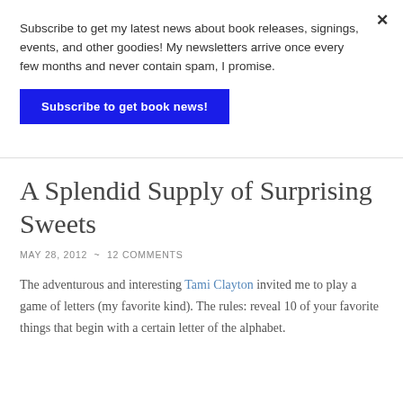Subscribe to get my latest news about book releases, signings, events, and other goodies! My newsletters arrive once every few months and never contain spam, I promise.
×
Subscribe to get book news!
A Splendid Supply of Surprising Sweets
MAY 28, 2012  ~  12 COMMENTS
The adventurous and interesting Tami Clayton invited me to play a game of letters (my favorite kind). The rules: reveal 10 of your favorite things that begin with a certain letter of the alphabet.